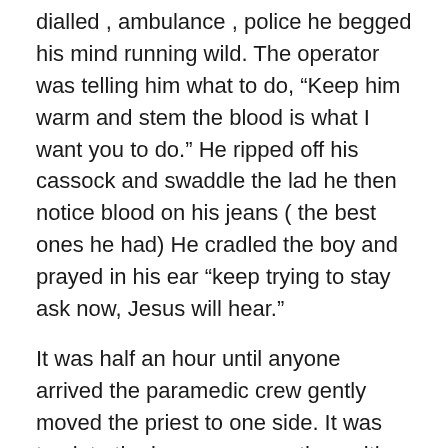dialled , ambulance , police he begged his mind running wild. The operator was telling him what to do, “Keep him warm and stem the blood is what I want you to do.” He ripped off his cassock and swaddle the lad he then notice blood on his jeans ( the best ones he had) He cradled the boy and prayed in his ear “keep trying to stay ask now, Jesus will hear.”
It was half an hour until anyone arrived the paramedic crew gently moved the priest to one side. It was too late the boy was gone, then with their radios crackling loud, the police taped the area off,with people from everywhere arriving, such a crowed.
Standing back and looking around the priest said a prayer with out making a sound. “Dear God take the soul of this boy who died here today and give him some peace, and if